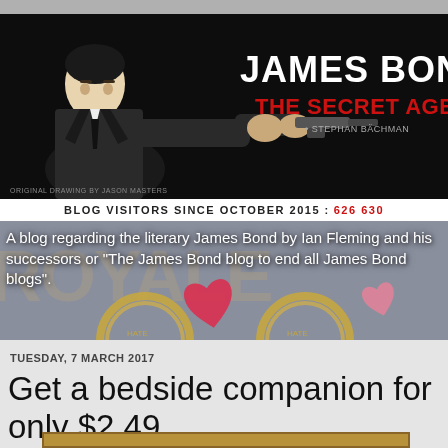[Figure (illustration): James Bond The Secret Agent banner illustration – black and white drawing of James Bond holding a gun, with bold white text 'JAMES BOND' and red text 'THE SECRET AGENT' by Stephan Bachman. Original drawing by Jason Masters credit at bottom left.]
BLOG VISITORS SINCE OCTOBER 2015 : 626 630
[Figure (illustration): Casino Royale themed background with decorative gold wreaths and pink/red heart shapes overlaid on a gold and grey background.]
A blog regarding the literary James Bond by Ian Fleming and his successors or "The James Bond blog to end all James Bond blogs".
TUESDAY, 7 MARCH 2017
Get a bedside companion for only $2.49
[Figure (photo): Partial photo strip visible at the very bottom of the page.]